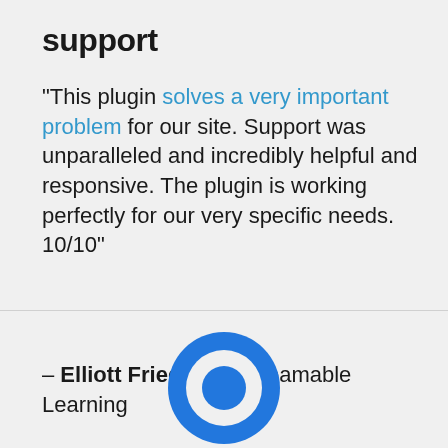support
"This plugin solves a very important problem for our site. Support was unparalleled and incredibly helpful and responsive. The plugin is working perfectly for our very specific needs. 10/10"
– Elliott Friedman, Streamable Learning
[Figure (logo): Blue circular target/bullseye logo icon with concentric circles]